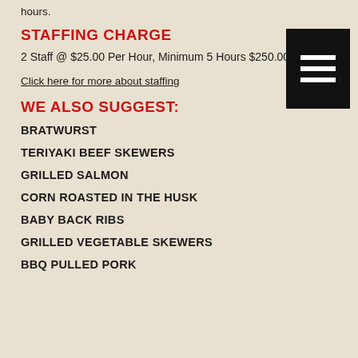hours.
STAFFING CHARGE
2 Staff @ $25.00 Per Hour, Minimum 5 Hours $250.00
Click here for more about staffing
WE ALSO SUGGEST:
BRATWURST
TERIYAKI BEEF SKEWERS
GRILLED SALMON
CORN ROASTED IN THE HUSK
BABY BACK RIBS
GRILLED VEGETABLE SKEWERS
BBQ PULLED PORK